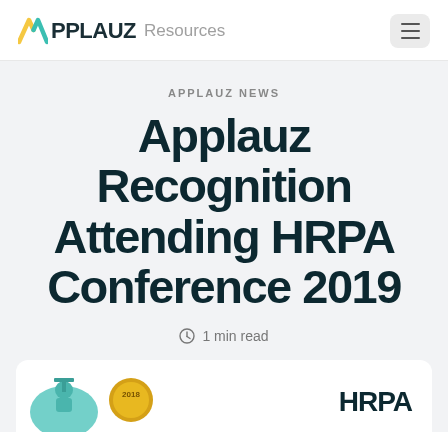APPLAUZ Resources
APPLAUZ NEWS
Applauz Recognition Attending HRPA Conference 2019
1 min read
[Figure (illustration): Partial view of an HRPA conference-related illustration showing a trophy/award figure and a 2018 badge, with HRPA text visible]